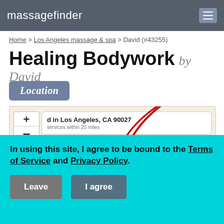massagefinder
Home > Los Angeles massage & spa > David (#43255)
Healing Bodywork by David
Location
[Figure (map): Map showing location in Los Angeles, CA 90027 with a red circle overlay indicating service area within 20 miles. Zoom controls (+/-) visible on left side.]
In using this site, I agree to be bound to the Terms of Service and Privacy Policy.
Leave   I agree